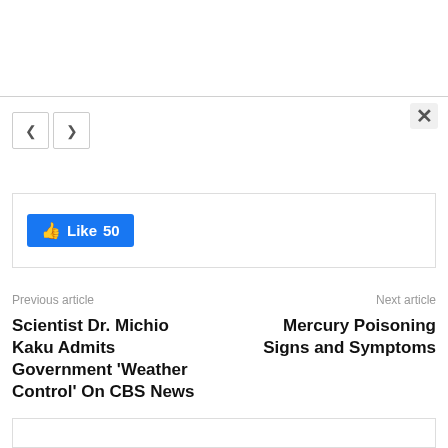[Figure (screenshot): Navigation back/forward buttons (< and >) and a close (X) button for a browser-like UI]
[Figure (screenshot): Facebook Like button showing 50 likes inside a bordered box]
Previous article
Next article
Scientist Dr. Michio Kaku Admits Government ‘Weather Control’ On CBS News
Mercury Poisoning Signs and Symptoms